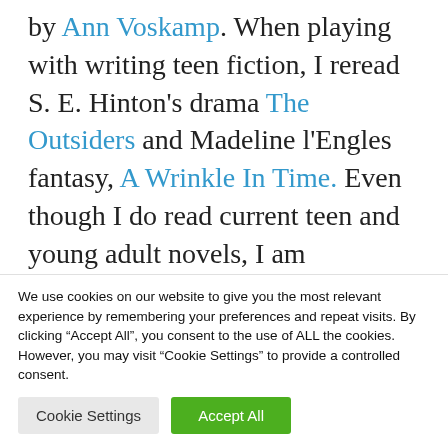by Ann Voskamp. When playing with writing teen fiction, I reread S. E. Hinton's drama The Outsiders and Madeline l'Engles fantasy, A Wrinkle In Time. Even though I do read current teen and young adult novels, I am motivated to re-read my favourites when writing.
T...
We use cookies on our website to give you the most relevant experience by remembering your preferences and repeat visits. By clicking "Accept All", you consent to the use of ALL the cookies. However, you may visit "Cookie Settings" to provide a controlled consent.